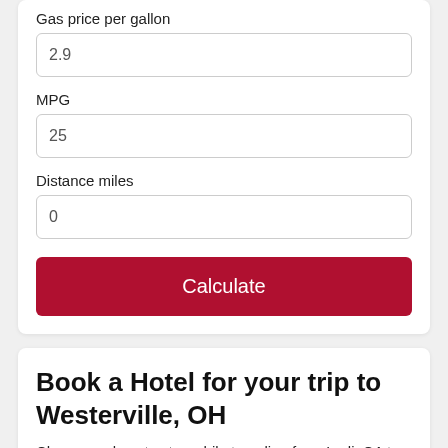Gas price per gallon
2.9
MPG
25
Distance miles
0
Calculate
Book a Hotel for your trip to Westerville, OH
Choose a place to stay while traveling from Lodi, CA to